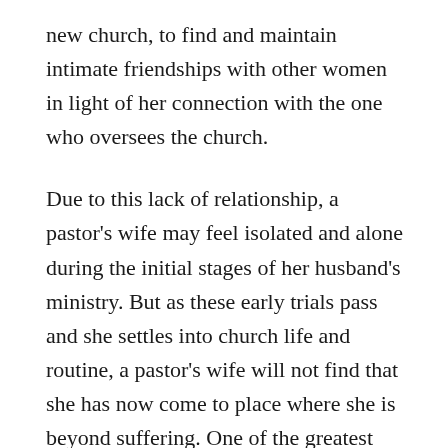new church, to find and maintain intimate friendships with other women in light of her connection with the one who oversees the church.
Due to this lack of relationship, a pastor's wife may feel isolated and alone during the initial stages of her husband's ministry. But as these early trials pass and she settles into church life and routine, a pastor's wife will not find that she has now come to place where she is beyond suffering. One of the greatest burdens a pastor's wife will bear will be for her husband when he is maligned and attacked by other members or regular attenders of the church.